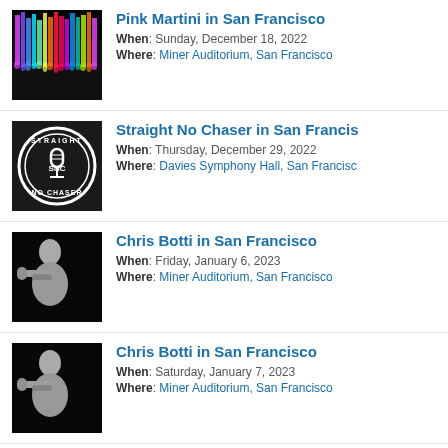Pink Martini in San Francisco
When: Sunday, December 18, 2022
Where: Miner Auditorium, San Francisco
Straight No Chaser in San Francisco
When: Thursday, December 29, 2022
Where: Davies Symphony Hall, San Francisco
Chris Botti in San Francisco
When: Friday, January 6, 2023
Where: Miner Auditorium, San Francisco
Chris Botti in San Francisco
When: Saturday, January 7, 2023
Where: Miner Auditorium, San Francisco
Chamber Series - Davies Symphony...